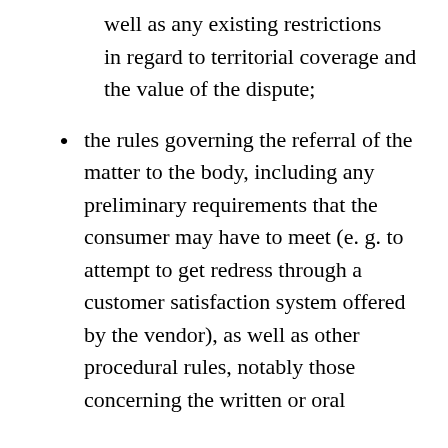well as any existing restrictions in regard to territorial coverage and the value of the dispute;
the rules governing the referral of the matter to the body, including any preliminary requirements that the consumer may have to meet (e. g. to attempt to get redress through a customer satisfaction system offered by the vendor), as well as other procedural rules, notably those concerning the written or oral